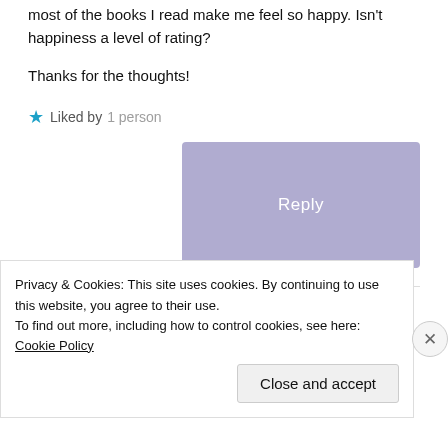most of the books I read make me feel so happy. Isn't happiness a level of rating?
Thanks for the thoughts!
★ Liked by 1 person
Reply
Holly
Privacy & Cookies: This site uses cookies. By continuing to use this website, you agree to their use. To find out more, including how to control cookies, see here: Cookie Policy
Close and accept